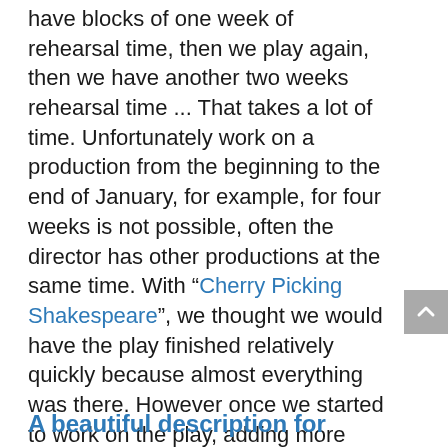have blocks of one week of rehearsal time, then we play again, then we have another two weeks rehearsal time ... That takes a lot of time. Unfortunately work on a production from the beginning to the end of January, for example, for four weeks is not possible, often the director has other productions at the same time. With "Cherry Picking Shakespeare", we thought we would have the play finished relatively quickly because almost everything was there. However once we started to work on the play, adding more scenes and songs to the production our initial time prognosis had to be revised. We discussed and completely restructured the text!
A beautiful description for